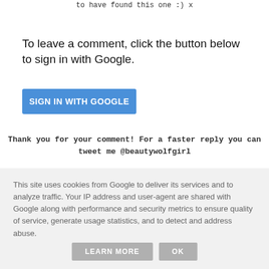to have found this one :) x
To leave a comment, click the button below to sign in with Google.
[Figure (other): Blue button labeled SIGN IN WITH GOOGLE]
Thank you for your comment! For a faster reply you can tweet me @beautywolfgirl
[Figure (other): Home icon (house symbol) in gray]
This site uses cookies from Google to deliver its services and to analyze traffic. Your IP address and user-agent are shared with Google along with performance and security metrics to ensure quality of service, generate usage statistics, and to detect and address abuse.
[Figure (other): Two gray buttons: LEARN MORE and OK]